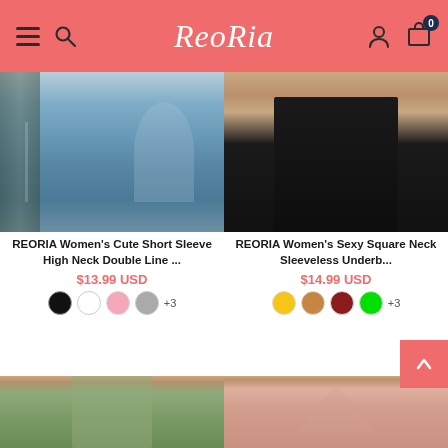ReoRia navigation header
[Figure (photo): Product image: women's jeans close-up, high-waist blue denim with hand in pocket, left product card]
[Figure (photo): Product image: women's black swimwear bottom, close-up of black bikini briefs on model, right product card]
REORIA Women's Cute Short Sleeve High Neck Double Line...
$13.99 USD
[Figure (other): Color swatches: black, white, pink, gray, +3 more]
REORIA Women's Sexy Square Neck Sleeveless Underb...
$14.99 USD
[Figure (other): Color swatches: yellow, tan/brown, dark red, bright green, +3 more]
[Figure (photo): Product image: women's green tank bodysuit/camisole, olive green color, spaghetti straps, model showing torso]
[Figure (photo): Product image: women's pink halter swimsuit with crossover straps and ruched cutout front detail]